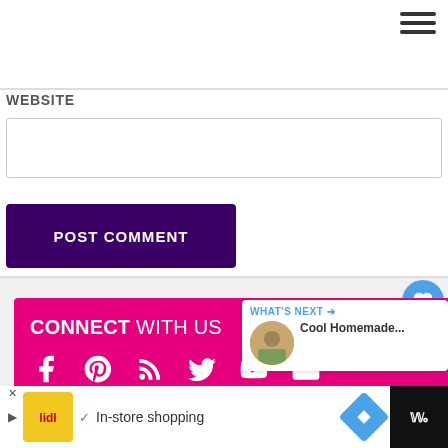[Figure (screenshot): Hamburger menu icon (three horizontal lines) in top right corner]
WEBSITE
[Figure (screenshot): Text input field for website URL]
[Figure (screenshot): POST COMMENT button — dark purple/indigo background, white uppercase text]
[Figure (screenshot): Heart/like button (blue circle with heart icon) showing count of 1, and a share button below]
[Figure (screenshot): CONNECT WITH US banner in magenta/pink with social media icons: Facebook, Pinterest, RSS, Twitter, YouTube, Email]
[Figure (screenshot): WHAT'S NEXT panel with thumbnail image and text: Cool Homemade...]
[Figure (screenshot): Advertisement bar at bottom: Lidl logo, checkmark, In-store shopping text, blue diamond arrow icon, and dark right panel]